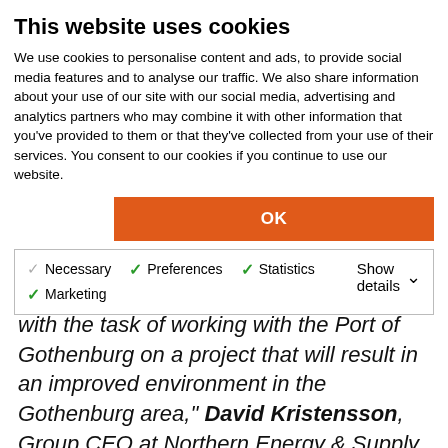This website uses cookies
We use cookies to personalise content and ads, to provide social media features and to analyse our traffic. We also share information about your use of our site with our social media, advertising and analytics partners who may combine it with other information that you've provided to them or that they've collected from your use of their services. You consent to our cookies if you continue to use our website.
OK
Necessary  Preferences  Statistics  Marketing  Show details
with the task of working with the Port of Gothenburg on a project that will result in an improved environment in the Gothenburg area," David Kristensson, Group CEO at Northern Energy & Supply, commented.
When the invitation to tender for sludge collection was issued, the Port of Gothenburg climate objectives were used as a starting point